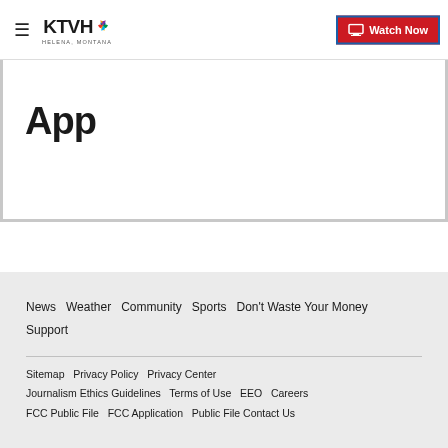KTVH — Watch Now
App
News  Weather  Community  Sports  Don't Waste Your Money  Support
Sitemap  Privacy Policy  Privacy Center  Journalism Ethics Guidelines  Terms of Use  EEO  Careers  FCC Public File  FCC Application  Public File Contact Us